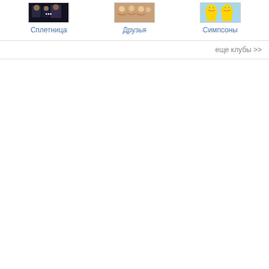[Figure (screenshot): Thumbnail image for Gossip Girl club (dark scene with people)]
Сплетница
[Figure (screenshot): Thumbnail image for Friends club (people smiling)]
Друзья
[Figure (screenshot): Thumbnail image for Simpsons club (animated characters)]
Симпсоны
еще клубы >>